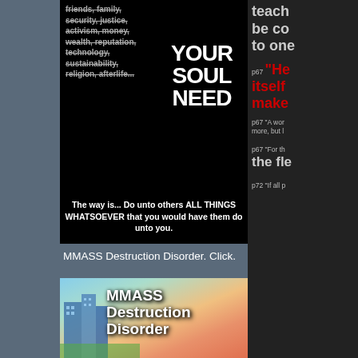[Figure (illustration): Black box with strikethrough text list on left (friends family security justice activism money wealth reputation technology sustainability religion afterlife...) and large white text YOUR SOUL NEED on right, then below: The way is... Do unto others ALL THINGS WHATSOEVER that you would have them do unto you.]
MMASS Destruction Disorder. Click.
[Figure (illustration): Book cover for MMASS Destruction Disorder with city buildings and sunset background]
teach be co to one
p67 "He itself make
p67 "A wor more, but l
p67 "For th the fle
p72 "If all p